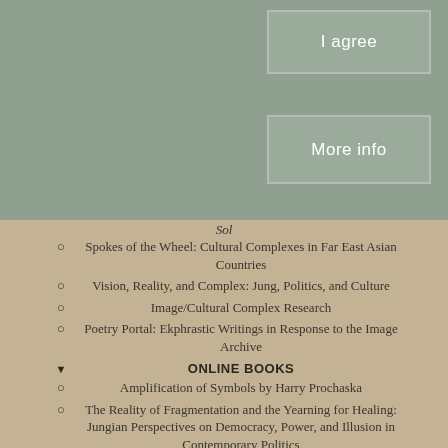[Figure (other): Gray-green button labeled 'I agree']
[Figure (other): Gray-green button labeled 'More info']
Sol
Spokes of the Wheel: Cultural Complexes in Far East Asian Countries
Vision, Reality, and Complex: Jung, Politics, and Culture
Image/Cultural Complex Research
Poetry Portal: Ekphrastic Writings in Response to the Image Archive
ONLINE BOOKS
Amplification of Symbols by Harry Prochaska
The Reality of Fragmentation and the Yearning for Healing: Jungian Perspectives on Democracy, Power, and Illusion in Contemporary Politics
The Serpent and the Cross: Healing the Split Through Active Imagination by Katherine Sanford